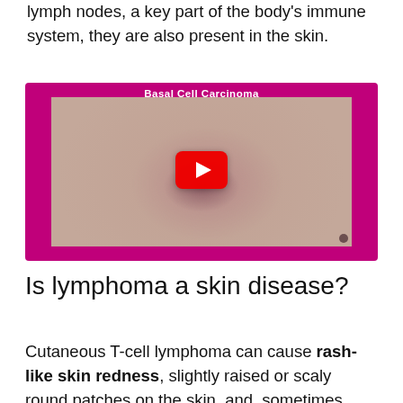lymph nodes, a key part of the body's immune system, they are also present in the skin.
[Figure (screenshot): YouTube video thumbnail showing a close-up of skin with a lesion labeled 'Basal Cell Carcinoma' with a red YouTube play button overlay, set against a magenta/pink border.]
Is lymphoma a skin disease?
Cutaneous T-cell lymphoma can cause rash-like skin redness, slightly raised or scaly round patches on the skin, and, sometimes,